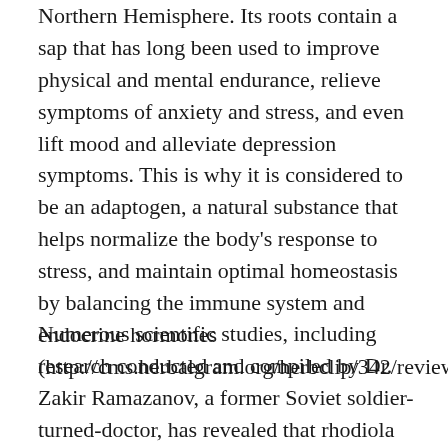Northern Hemisphere. Its roots contain a sap that has long been used to improve physical and mental endurance, relieve symptoms of anxiety and stress, and even lift mood and alleviate depression symptoms. This is why it is considered to be an adaptogen, a natural substance that helps normalize the body's response to stress, and maintain optimal homeostasis by balancing the immune system and endocrine hormones (http://cms.herbalgram.org/herbclip/342/review45139.html).
Numerous scientific studies, including research conducted and compiled by Dr. Zakir Ramazanov, a former Soviet soldier-turned-doctor, has revealed that rhodiola rosea can be useful as...